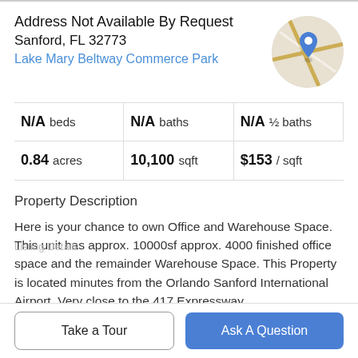Address Not Available By Request
Sanford, FL 32773
Lake Mary Beltway Commerce Park
[Figure (map): Circular map thumbnail showing road map with a blue location pin marker]
| N/A beds | N/A baths | N/A ½ baths |
| 0.84 acres | 10,100 sqft | $153 / sqft |
Property Description
Here is your chance to own Office and Warehouse Space. This unit has approx. 10000sf approx. 4000 finished office space and the remainder Warehouse Space. This Property is located minutes from the Orlando Sanford International Airport, Very close to the 417 Expressway
Take a Tour | Ask A Question